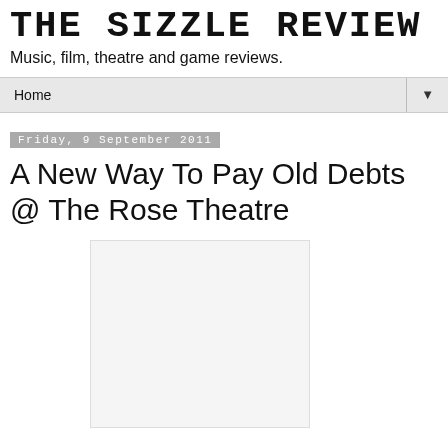THE SIZZLE REVIEW
Music, film, theatre and game reviews.
Home
Friday, 9 September 2011
A New Way To Pay Old Debts @ The Rose Theatre
[Figure (photo): Blank/placeholder image area for theatre production photo]